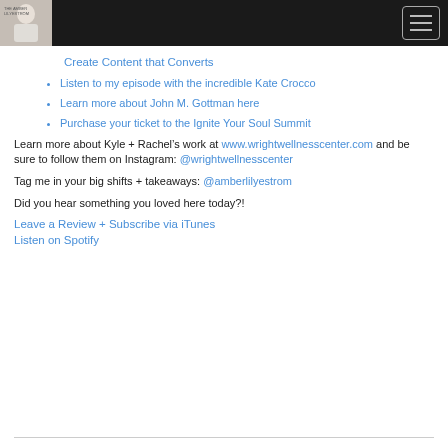[Logo] [Menu button]
Create Content that Converts
Listen to my episode with the incredible Kate Crocco
Learn more about John M. Gottman here
Purchase your ticket to the Ignite Your Soul Summit
Learn more about Kyle + Rachel’s work at www.wrightwellnesscenter.com and be sure to follow them on Instagram: @wrightwellnesscenter
Tag me in your big shifts + takeaways: @amberlilyestrom
Did you hear something you loved here today?!
Leave a Review + Subscribe via iTunes
Listen on Spotify